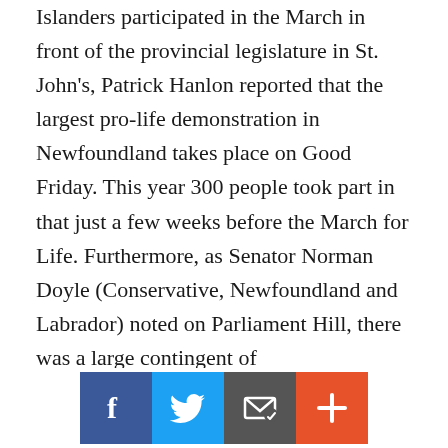Islanders participated in the March in front of the provincial legislature in St. John's, Patrick Hanlon reported that the largest pro-life demonstration in Newfoundland takes place on Good Friday. This year 300 people took part in that just a few weeks before the March for Life. Furthermore, as Senator Norman Doyle (Conservative, Newfoundland and Labrador) noted on Parliament Hill, there was a large contingent of Newfoundlanders at the National March for Life in Ottawa (they could be seen waving their pronvical flag as they marched). In Halifax, the Nova Scotia March for Life drew about 75 people. Ellen Chesal, Executive Director of CLC Nova Scotia and Andre Turcot, State Pro Life Director for the Knights of Colum...
[Figure (infographic): Social sharing bar with four buttons: Facebook (blue), Twitter (light blue), Email (dark grey), and More/Plus (orange-red)]